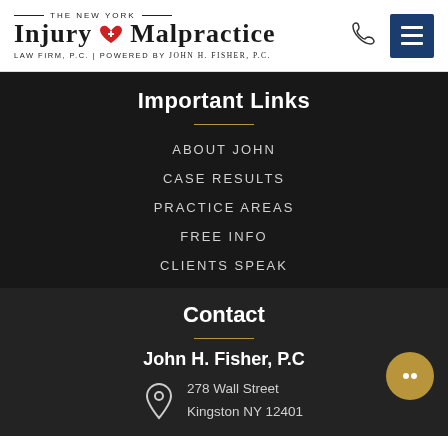[Figure (logo): The New York Injury & Malpractice Law Firm, P.C. | Powered by John H. Fisher, P.C. logo with phone icon and hamburger menu]
Important Links
ABOUT JOHN
CASE RESULTS
PRACTICE AREAS
FREE INFO
CLIENTS SPEAK
Contact
John H. Fisher, P.C
278 Wall Street
Kingston NY 12401